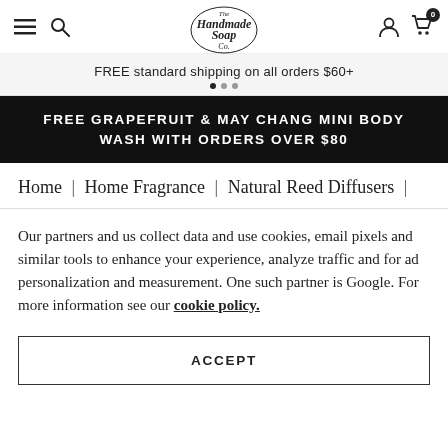The Handmade Soap Co. navigation header with menu, search, logo, account and cart icons
FREE standard shipping on all orders $60+
FREE GRAPEFRUIT & MAY CHANG MINI BODY WASH WITH ORDERS OVER $80
Home | Home Fragrance | Natural Reed Diffusers |
Our partners and us collect data and use cookies, email pixels and similar tools to enhance your experience, analyze traffic and for ad personalization and measurement. One such partner is Google. For more information see our cookie policy.
ACCEPT